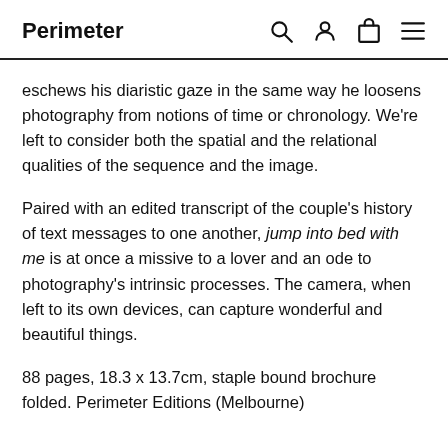Perimeter
eschews his diaristic gaze in the same way he loosens photography from notions of time or chronology. We're left to consider both the spatial and the relational qualities of the sequence and the image.
Paired with an edited transcript of the couple's history of text messages to one another, jump into bed with me is at once a missive to a lover and an ode to photography's intrinsic processes. The camera, when left to its own devices, can capture wonderful and beautiful things.
88 pages, 18.3 x 13.7cm, staple bound brochure folded. Perimeter Editions (Melbourne)